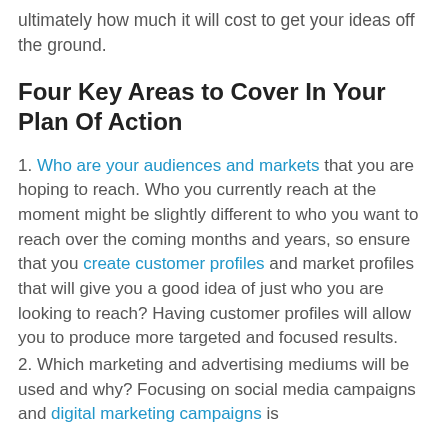ultimately how much it will cost to get your ideas off the ground.
Four Key Areas to Cover In Your Plan Of Action
1. Who are your audiences and markets that you are hoping to reach. Who you currently reach at the moment might be slightly different to who you want to reach over the coming months and years, so ensure that you create customer profiles and market profiles that will give you a good idea of just who you are looking to reach? Having customer profiles will allow you to produce more targeted and focused results.
2. Which marketing and advertising mediums will be used and why? Focusing on social media campaigns and digital marketing campaigns is